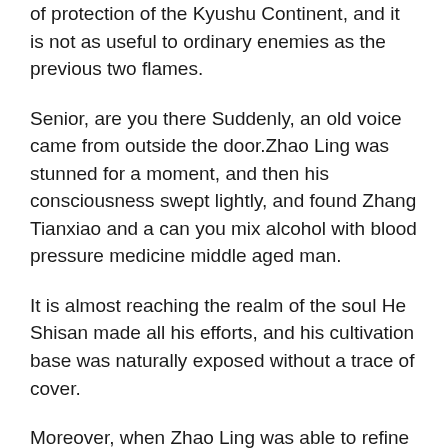of protection of the Kyushu Continent, and it is not as useful to ordinary enemies as the previous two flames.
Senior, are you there Suddenly, an old voice came from outside the door.Zhao Ling was stunned for a moment, and then his consciousness swept lightly, and found Zhang Tianxiao and a can you mix alcohol with blood pressure medicine middle aged man.
It is almost reaching the realm of the soul He Shisan made all his efforts, and his cultivation base was naturally exposed without a trace of cover.
Moreover, when Zhao Ling was able to refine the medicinal pills, he formed a cloud of pills, which shows that can you mix alcohol with blood pressure medicine Anti High Blood Pressure Drugs this alchemy achievement is extremely terrifying.